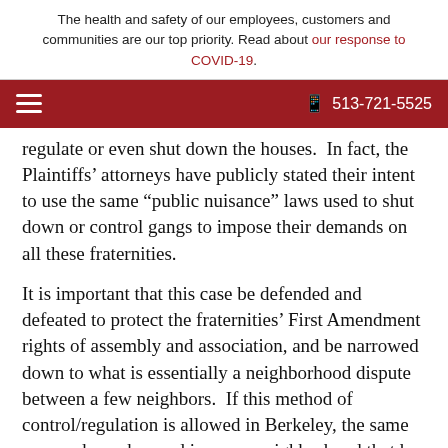The health and safety of our employees, customers and communities are our top priority. Read about our response to COVID-19.
regulate or even shut down the houses.  In fact, the Plaintiffs' attorneys have publicly stated their intent to use the same “public nuisance” laws used to shut down or control gangs to impose their demands on all these fraternities.
It is important that this case be defended and defeated to protect the fraternities’ First Amendment rights of assembly and association, and be narrowed down to what is essentially a neighborhood dispute between a few neighbors.  If this method of control/regulation is allowed in Berkeley, the same approach can be used in every neighborhood that has a high concentration of fraternity houses.
Editor’s Note